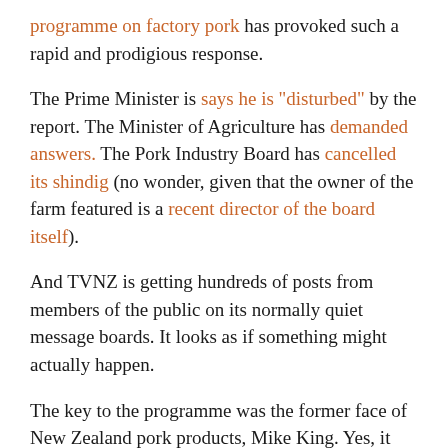programme on factory pork has provoked such a rapid and prodigious response.
The Prime Minister is says he is "disturbed" by the report. The Minister of Agriculture has demanded answers. The Pork Industry Board has cancelled its shindig (no wonder, given that the owner of the farm featured is a recent director of the board itself).
And TVNZ is getting hundreds of posts from members of the public on its normally quiet message boards. It looks as if something might actually happen.
The key to the programme was the former face of New Zealand pork products, Mike King. Yes, it would have been an even better look if King had turned before he lost his promotional contract with the Pork Board, but I don't doubt his sincerity, or the real